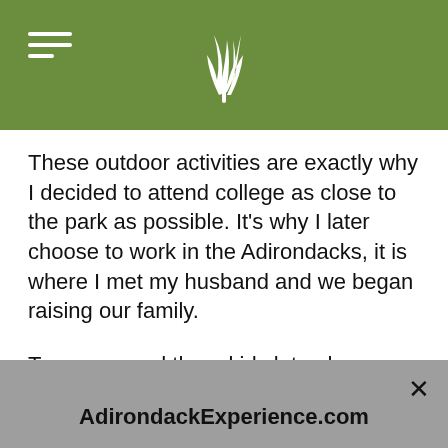Adirondack Experience logo and navigation
These outdoor activities are exactly why I decided to attend college as close to the park as possible. It's why I later choose to work in the Adirondacks, it is where I met my husband and we began raising our family.
Ten years and three kids later, here we are happily living in one of the most exciting places in New York State when it comes to outdoor recreation.
AdirondackExperience.com